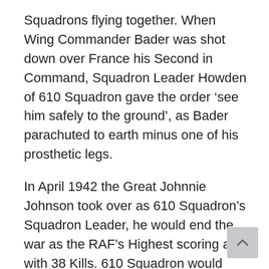Squadrons flying together. When Wing Commander Bader was shot down over France his Second in Command, Squadron Leader Howden of 610 Squadron gave the order ‘see him safely to the ground’, as Bader parachuted to earth minus one of his prosthetic legs.
In April 1942 the Great Johnnie Johnson took over as 610 Squadron’s Squadron Leader, he would end the war as the RAF’s Highest scoring ace with 38 Kills. 610 Squadron would change bases a number of times during the Second World War. In